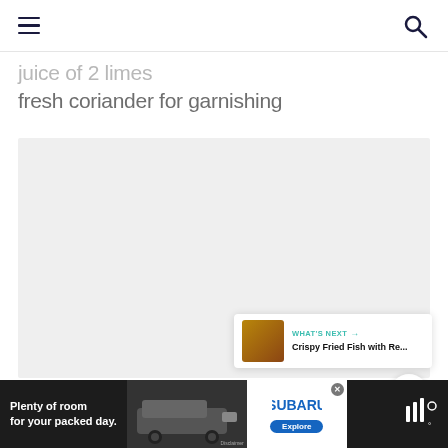juice of 2 limes
fresh coriander for garnishing
[Figure (photo): Large light gray placeholder image area for recipe photo]
WHAT'S NEXT → Crispy Fried Fish with Re...
[Figure (photo): Advertisement: Subaru - Plenty of room for your packed day.]